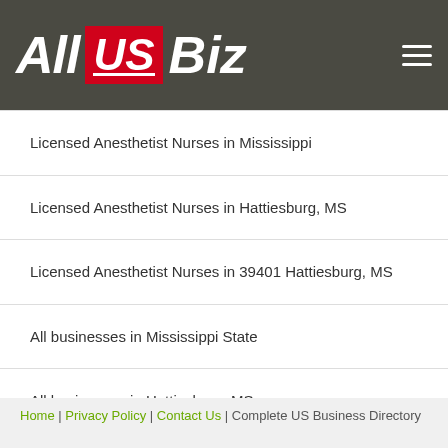All US Biz
Licensed Anesthetist Nurses in Mississippi
Licensed Anesthetist Nurses in Hattiesburg, MS
Licensed Anesthetist Nurses in 39401 Hattiesburg, MS
All businesses in Mississippi State
All businesses in Hattiesburg, MS
All businesses in 39401 Hattiesburg, MS
Home | Privacy Policy | Contact Us | Complete US Business Directory